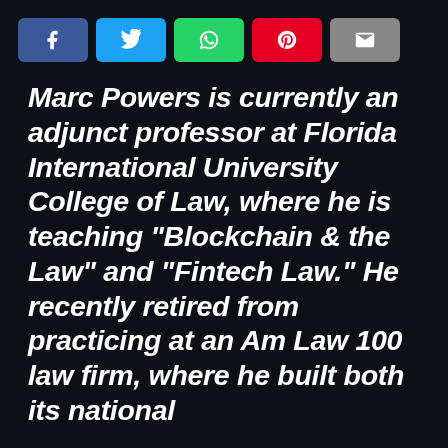[Figure (other): Social media sharing buttons: Facebook (blue), Twitter (light blue), WhatsApp (green), Pinterest (red), Email (gray)]
Marc Powers is currently an adjunct professor at Florida International University College of Law, where he is teaching “Blockchain & the Law” and “Fintech Law.” He recently retired from practicing at an Am Law 100 law firm, where he built both its national